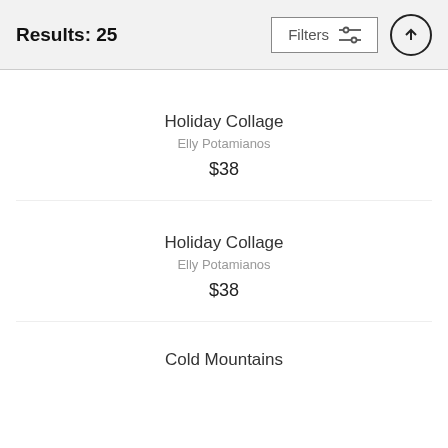Results: 25
Filters
Holiday Collage
Elly Potamianos
$38
Holiday Collage
Elly Potamianos
$38
Cold Mountains